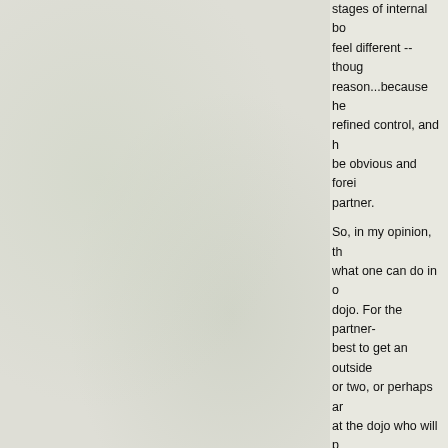stages of internal bo... feel different -- though... reason...because he... refined control, and h... be obvious and forei... partner.

So, in my opinion, th... what one can do in o... dojo. For the partner-... best to get an outside... or two, or perhaps ar... at the dojo who will p... during open mat hou... situation, two people... such as kokyu-nage ... can look perfectly "no... bystanders.
Quote: But what if a cer... art is essential t... and they are wil... take a longer, ev... incomplete road... because of their... their martial arts... that is, in fact, u...